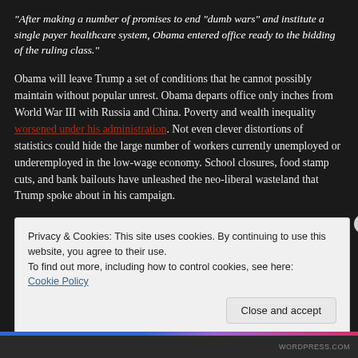“After making a number of promises to end “dumb wars” and institute a single payer healthcare system, Obama entered office ready to the bidding of the ruling class.”
Obama will leave Trump a set of conditions that he cannot possibly maintain without popular unrest. Obama departs office only inches from World War III with Russia and China. Poverty and wealth inequality worsened under his administration. Not even clever distortions of statistics could hide the large number of workers currently unemployed or underemployed in the low-wage economy. School closures, food stamp cuts, and bank bailouts have unleashed the neo-liberal wasteland that Trump spoke about in his campaign.
Privacy & Cookies: This site uses cookies. By continuing to use this website, you agree to their use.
To find out more, including how to control cookies, see here:
Cookie Policy
Close and accept